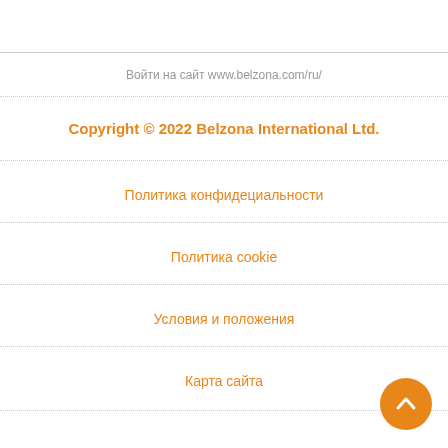Войти на сайт www.belzona.com/ru/
Copyright © 2022 Belzona International Ltd.
Политика конфидециальности
Политика cookie
Условия и положения
Карта сайта